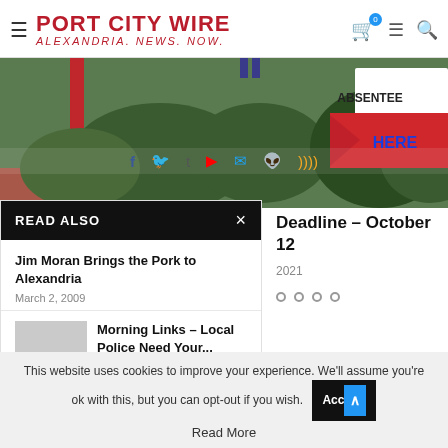PORT CITY WIRE — ALEXANDRIA. NEWS. NOW.
[Figure (photo): Outdoor photo showing an 'ABSENTEE HERE' sign with an arrow, green bushes, red pole, and brick pavement in the background.]
READ ALSO
Jim Moran Brings the Pork to Alexandria
March 2, 2009
Morning Links – Local Police Need Your...
August 7, 2012
Deadline – October 12
2021
This website uses cookies to improve your experience. We'll assume you're ok with this, but you can opt-out if you wish.
Read More